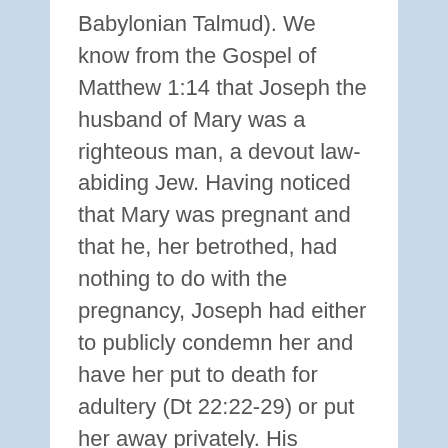Babylonian Talmud). We know from the Gospel of Matthew 1:14 that Joseph the husband of Mary was a righteous man, a devout law-abiding Jew. Having noticed that Mary was pregnant and that he, her betrothed, had nothing to do with the pregnancy, Joseph had either to publicly condemn her and have her put to death for adultery (Dt 22:22-29) or put her away privately. His decision